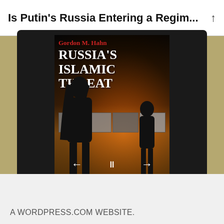Is Putin's Russia Entering a Regim...
[Figure (photo): Screenshot of a WordPress website showing a book cover for 'Russia's Islamic Threat' by Gordon M. Hahn. The book cover shows silhouettes of a woman and child against a fiery background, with photo thumbnails at the top portion. Navigation arrows (left, pause, right) are visible at the bottom of the image viewer.]
A WORDPRESS.COM WEBSITE.